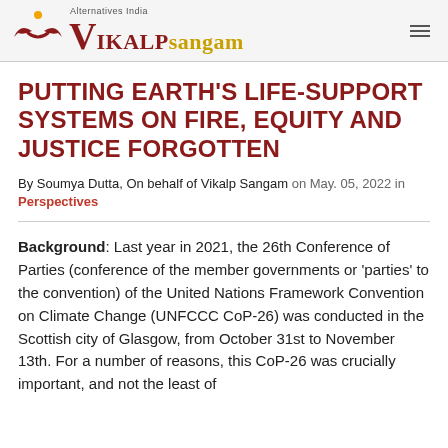Alternatives India VIKALP sangam
PUTTING EARTH'S LIFE-SUPPORT SYSTEMS ON FIRE, EQUITY AND JUSTICE FORGOTTEN
By Soumya Dutta, On behalf of Vikalp Sangam on May. 05, 2022 in Perspectives
Background: Last year in 2021, the 26th Conference of Parties (conference of the member governments or 'parties' to the convention) of the United Nations Framework Convention on Climate Change (UNFCCC CoP-26) was conducted in the Scottish city of Glasgow, from October 31st to November 13th. For a number of reasons, this CoP-26 was crucially important, and not the least of